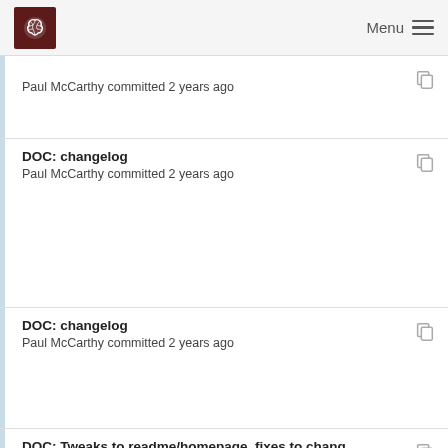Menu
Paul McCarthy committed 2 years ago
DOC: changelog
Paul McCarthy committed 2 years ago
DOC: changelog
Paul McCarthy committed 2 years ago
DOC: Tweaks to readme/homepage, fixes to chang...
Paul McCarthy committed 1 year ago